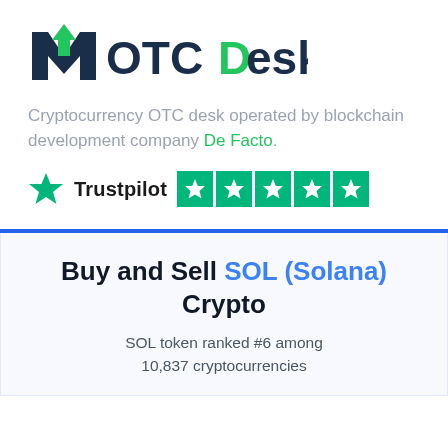[Figure (logo): MyOTCDesk logo — stylized letter M with a green upward arrow, followed by OTCDesk in bold navy/green text]
Cryptocurrency OTC desk operated by blockchain development company De Facto.
[Figure (other): Trustpilot logo with green star and text 'Trustpilot' followed by 5 filled green star rating boxes]
Buy and Sell SOL (Solana) Crypto
SOL token ranked #6 among 10,837 cryptocurrencies